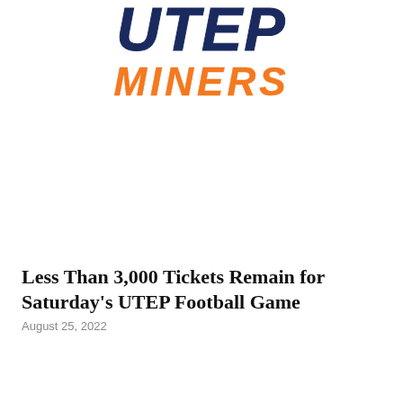[Figure (logo): UTEP Miners logo with dark navy UTEP text above orange italic MINERS text]
Less Than 3,000 Tickets Remain for Saturday's UTEP Football Game
August 25, 2022